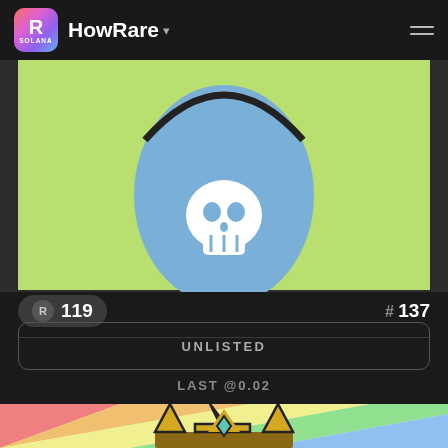HowRare
[Figure (illustration): NFT artwork showing a cartoon character with a blue body and white skull on its torso, on a light green background]
R 119
# 137
UNLISTED
LAST @0.02
[Figure (illustration): NFT artwork showing a cartoon character wearing a golden crown with teal diamond shapes, on a rainbow striped background]